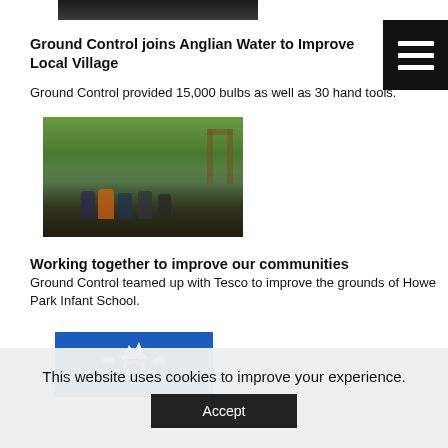[Figure (photo): Partial top of an outdoor photo, cropped at top of page]
Ground Control joins Anglian Water to Improve Local Village
Ground Control provided 15,000 bulbs as well as 30 hand tools.
[Figure (photo): Group photo of people standing outdoors near a wooden structure, trees visible in background]
Working together to improve our communities
Ground Control teamed up with Tesco to improve the grounds of Howe Park Infant School.
[Figure (logo): Blue background with a royal crest / Queen's Award logo in white]
This website uses cookies to improve your experience.
Accept